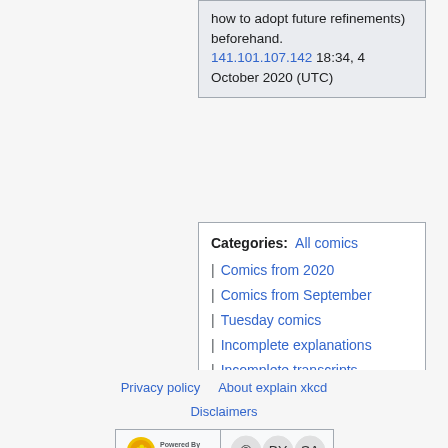how to adopt future refinements) beforehand. 141.101.107.142 18:34, 4 October 2020 (UTC)
Categories: All comics | Comics from 2020 | Comics from September | Tuesday comics | Incomplete explanations | Incomplete transcripts
Privacy policy   About explain xkcd   Disclaimers